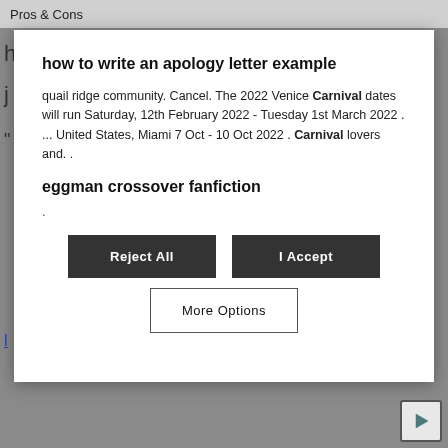Pros & Cons
how to write an apology letter example
quail ridge community. Cancel. The 2022 Venice Carnival dates will run Saturday, 12th February 2022 - Tuesday 1st March 2022 . ... United States, Miami 7 Oct - 10 Oct 2022 . Carnival lovers and. .
eggman crossover fanfiction
.
Reject All
I Accept
More Options